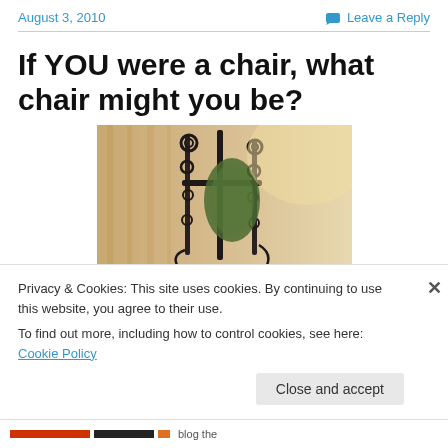August 3, 2010    Leave a Reply
If YOU were a chair, what chair might you be?
[Figure (photo): Close-up photo of an ornate dark iron chair back with curling decorative scrollwork, against a warm beige/wood background. A green cushion or seat back is partially visible.]
Privacy & Cookies: This site uses cookies. By continuing to use this website, you agree to their use.
To find out more, including how to control cookies, see here: Cookie Policy